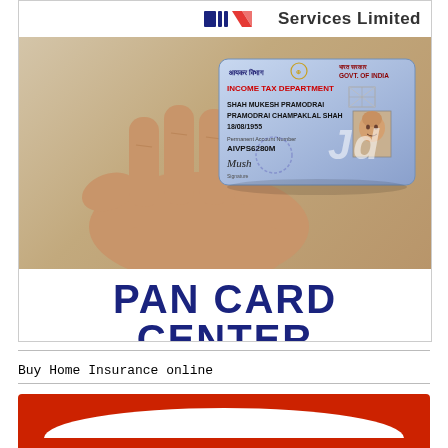[Figure (photo): Hand holding a PAN card (Income Tax Department, Govt. of India) with text 'PAN CARD CENTER' below, and a partial logo with 'Services Limited' text at top. The PAN card shows details: SHAH MUKESH PRAMODRAI, PRAMODRAI CHAMPAKLAL SHAH, 18/08/1955, AIVPS6280M.]
Buy Home Insurance online
[Figure (photo): Red banner/advertisement with white arc shape at bottom, partially visible.]